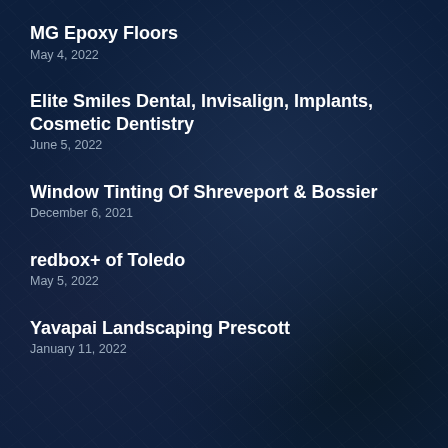MG Epoxy Floors
May 4, 2022
Elite Smiles Dental, Invisalign, Implants, Cosmetic Dentistry
June 5, 2022
Window Tinting Of Shreveport & Bossier
December 6, 2021
redbox+ of Toledo
May 5, 2022
Yavapai Landscaping Prescott
January 11, 2022